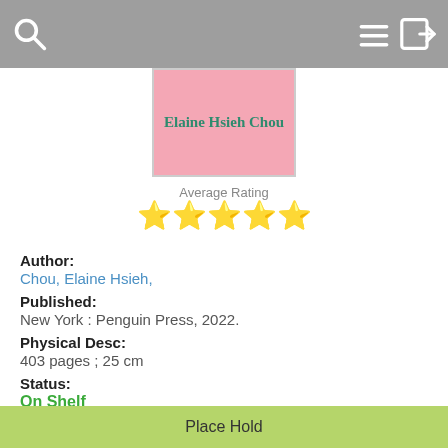Search / Menu / Login
[Figure (illustration): Book cover with pink background showing author name 'Elaine Hsieh Chou' in green serif font]
Average Rating
★★★★★
Author:
Chou, Elaine Hsieh,
Published:
New York : Penguin Press, 2022.
Physical Desc:
403 pages ; 25 cm
Status:
On Shelf
8 copies, 2 people are on the wait list.
Belle Cooledge
FICTION Chou, E.
McKinley
FICTION Chou, E.
Walnut Grove
FICTION Chou, E.
Quick Copy View
Place Hold